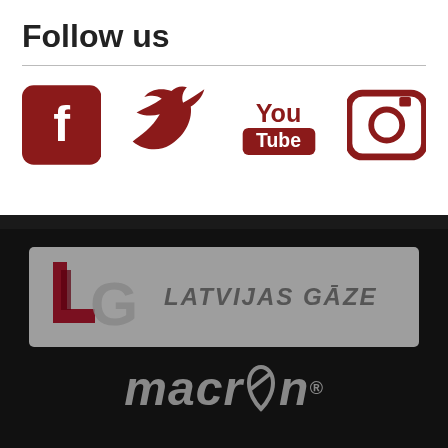Follow us
[Figure (infographic): Social media icons: Facebook (red square with f), Twitter (red bird), YouTube (red YouTube logo), Instagram (red camera icon)]
[Figure (logo): Latvijas Gāze logo on grey background]
[Figure (logo): Macron logo in grey on black background]